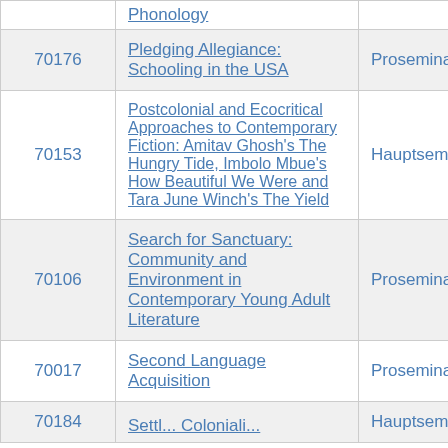| ID | Title | Type |
| --- | --- | --- |
|  | Phonology |  |
| 70176 | Pledging Allegiance: Schooling in the USA | Proseminar |
| 70153 | Postcolonial and Ecocritical Approaches to Contemporary Fiction: Amitav Ghosh's The Hungry Tide, Imbolo Mbue's How Beautiful We Were and Tara June Winch's The Yield | Hauptseminar |
| 70106 | Search for Sanctuary: Community and Environment in Contemporary Young Adult Literature | Proseminar |
| 70017 | Second Language Acquisition | Proseminar |
| 70184 | ... | Hauptseminar |